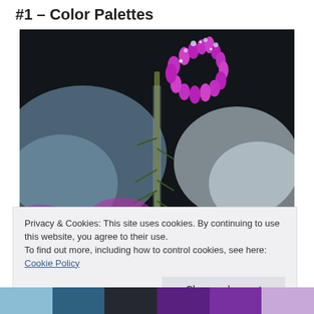#1 – Color Palettes
[Figure (photo): Close-up macro photograph of a frost-covered purple/magenta heather plant spike with blurred purple and white flowers in the background against a dark background.]
Privacy & Cookies: This site uses cookies. By continuing to use this website, you agree to their use.
To find out more, including how to control cookies, see here: Cookie Policy
[Figure (infographic): Color palette strip showing swatches: light blue, dark teal/blue, dark charcoal/black, deep purple, medium purple, light lavender/pink]